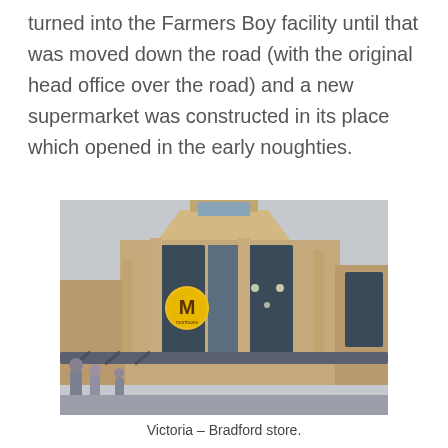turned into the Farmers Boy facility until that was moved down the road (with the original head office over the road) and a new supermarket was constructed in its place which opened in the early noughties.
[Figure (photo): Exterior photograph of the Morrisons Victoria – Bradford store. A multi-storey brick and glass building with large windows and a Morrisons logo (yellow circle with M) visible on the facade. A canopy is visible at street level with people walking below.]
Victoria – Bradford store.